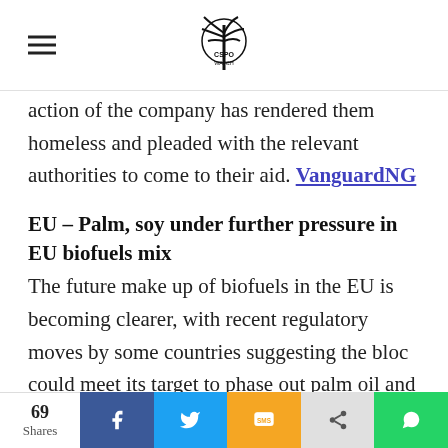CSPO Watch
action of the company has rendered them homeless and pleaded with the relevant authorities to come to their aid. VanguardNG
EU - Palm, soy under further pressure in EU biofuels mix
The future make up of biofuels in the EU is becoming clearer, with recent regulatory moves by some countries suggesting the bloc could meet its target to phase out palm oil and soy oil from the
69 Shares | Facebook | Twitter | SMS | Share | WhatsApp